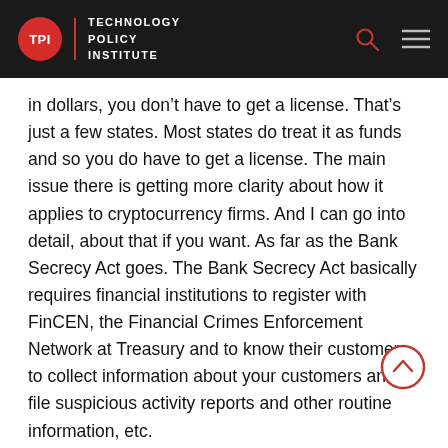TPI Technology Policy Institute
in dollars, you don’t have to get a license. That’s just a few states. Most states do treat it as funds and so you do have to get a license. The main issue there is getting more clarity about how it applies to cryptocurrency firms. And I can go into detail, about that if you want. As far as the Bank Secrecy Act goes. The Bank Secrecy Act basically requires financial institutions to register with FinCEN, the Financial Crimes Enforcement Network at Treasury and to know their customers, to collect information about your customers and file suspicious activity reports and other routine information, etc.
The question is, are you a financial institution? A